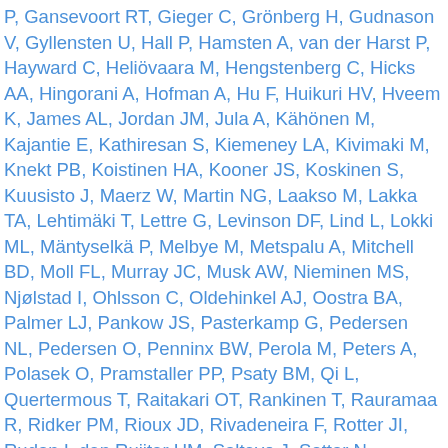P, Gansevoort RT, Gieger C, Grönberg H, Gudnason V, Gyllensten U, Hall P, Hamsten A, van der Harst P, Hayward C, Heliövaara M, Hengstenberg C, Hicks AA, Hingorani A, Hofman A, Hu F, Huikuri HV, Hveem K, James AL, Jordan JM, Jula A, Kähönen M, Kajantie E, Kathiresan S, Kiemeney LA, Kivimaki M, Knekt PB, Koistinen HA, Kooner JS, Koskinen S, Kuusisto J, Maerz W, Martin NG, Laakso M, Lakka TA, Lehtimäki T, Lettre G, Levinson DF, Lind L, Lokki ML, Mäntyselkä P, Melbye M, Metspalu A, Mitchell BD, Moll FL, Murray JC, Musk AW, Nieminen MS, Njølstad I, Ohlsson C, Oldehinkel AJ, Oostra BA, Palmer LJ, Pankow JS, Pasterkamp G, Pedersen NL, Pedersen O, Penninx BW, Perola M, Peters A, Polasek O, Pramstaller PP, Psaty BM, Qi L, Quertermous T, Raitakari OT, Rankinen T, Rauramaa R, Ridker PM, Rioux JD, Rivadeneira F, Rotter JI, Rudan I, den Ruijter HM, Saltevo J, Sattar N, Schunkert H, Schwarz PE, Shuldiner AR, Sinisalo J, Snieder H, Sørensen TI, Spector TD, Staessen JA, Stefania B, Thorsteinsdottir U, Stumvoll M, Tardif JC, Tremoli E, Tuomilehto J, Uitterlinden AG, Uusitupa M, Verbeek AL, Vermeulen SH, Viikari JS, Vitart V, Völzke H, Vollenweider P, Waeber G, Walker